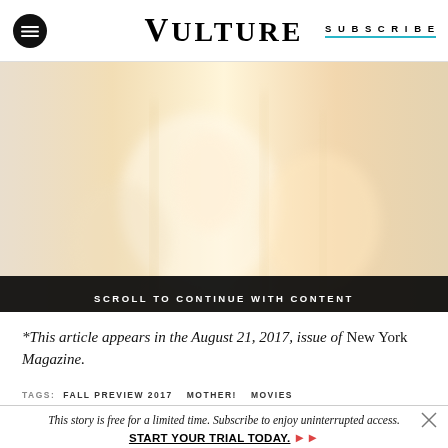VULTURE | SUBSCRIBE
[Figure (photo): Blurred warm-toned editorial photo of figures in a bright interior setting, used as article hero image. Contains overlay bar reading SCROLL TO CONTINUE WITH CONTENT.]
*This article appears in the August 21, 2017, issue of New York Magazine.
TAGS: FALL PREVIEW 2017  MOTHER!  MOVIES
This story is free for a limited time. Subscribe to enjoy uninterrupted access. START YOUR TRIAL TODAY. »»